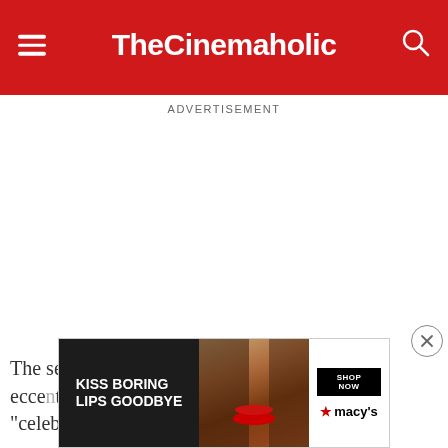TheCinemaholic
ADVERTISEMENT
The series captures the numerous eccentric... see in mo... "celebrity exemption list", joining the mile
[Figure (screenshot): Macy's advertisement banner showing a woman's face with red lips, text 'KISS BORING LIPS GOODBYE' and 'SHOP NOW' button with Macy's star logo]